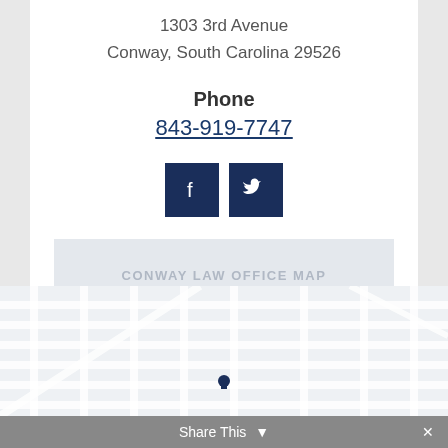1303 3rd Avenue
Conway, South Carolina 29526
Phone
843-919-7747
[Figure (other): Facebook and Twitter social media icon buttons (dark navy square buttons with white icons)]
CONWAY LAW OFFICE MAP
[Figure (map): Street map of Conway, South Carolina with a location pin marker]
Share This